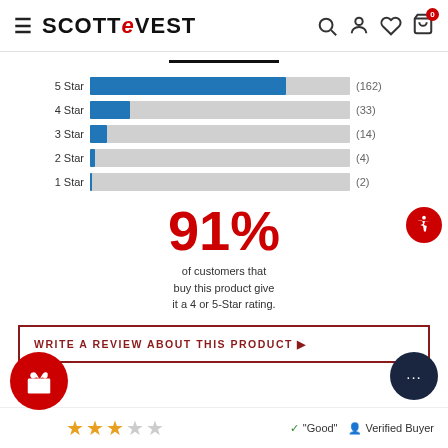SCOTTeVEST
[Figure (bar-chart): Star Rating Distribution]
91%
of customers that buy this product give it a 4 or 5-Star rating.
WRITE A REVIEW ABOUT THIS PRODUCT ▶
"Good"  ✓  Verified Buyer